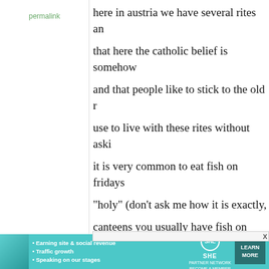permalink
here in austria we have several rites an... that here the catholic belief is somehow... and that people like to stick to the old r... use to live with these rites without aski...

it is very common to eat fish on fridays... "holy" (don't ask me how it is exactly,... canteens you usually have fish on frida... on karfreitag, most people do not eat m... easter (which is always on a sunday) a... about that.

fasting is something that people do...
[Figure (infographic): SHE Partner Network advertisement banner with woman photo, bullet points about earning site & social revenue, traffic growth, speaking on stages, SHE logo, and LEARN MORE button]